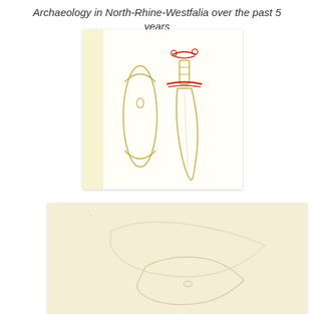Archaeology in North-Rhine-Westfalia over the past 5 years
[Figure (illustration): Hand-drawn sketch illustration of an ancient dagger with its sheath. Left object: elongated oval-shaped sheath drawn in yellow/ochre ink with a small hole detail. Right object: a dagger with red/crimson T-shaped crossguard and pommel, and a pointed blade drawn in yellow/ochre ink. Both objects are shown vertically on a cream/white background with faint yellow wash on the left side.]
[Figure (illustration): Partial view of a second hand-drawn illustration on a cream/yellowish background, showing what appears to be another ancient artifact, partially cropped at the bottom of the page.]